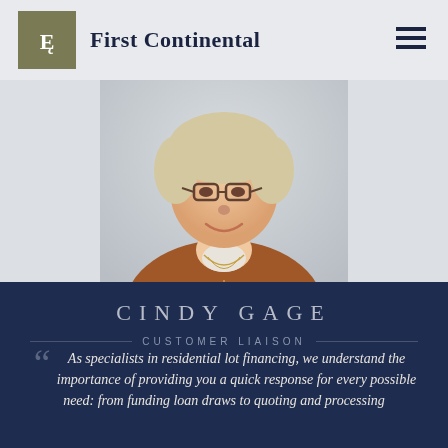First Continental
[Figure (photo): Professional headshot of Cindy Gage, a woman with short blonde hair and glasses, wearing a brown sweater and gold necklaces, smiling in an office setting]
CINDY GAGE
CUSTOMER LIAISON
As specialists in residential lot financing, we understand the importance of providing you a quick response for every possible need: from funding loan draws to quoting and processing